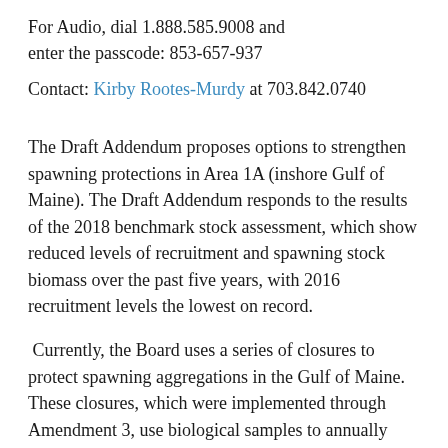For Audio, dial 1.888.585.9008 and enter the passcode: 853-657-937
Contact: Kirby Rootes-Murdy at 703.842.0740
The Draft Addendum proposes options to strengthen spawning protections in Area 1A (inshore Gulf of Maine). The Draft Addendum responds to the results of the 2018 benchmark stock assessment, which show reduced levels of recruitment and spawning stock biomass over the past five years, with 2016 recruitment levels the lowest on record.
Currently, the Board uses a series of closures to protect spawning aggregations in the Gulf of Maine. These closures, which were implemented through Amendment 3, use biological samples to annually project the start of spawning. The closures are initially implemented for four weeks but can be